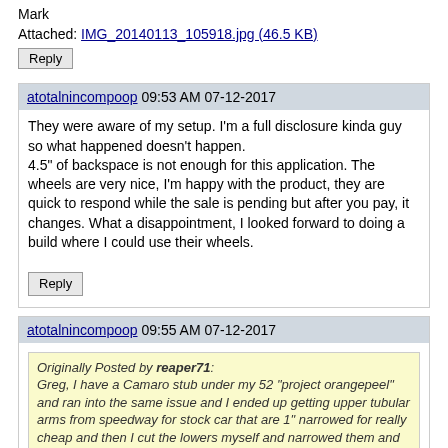Mark
Attached: IMG_20140113_105918.jpg (46.5 KB)
Reply
atotalnincompoop 09:53 AM 07-12-2017
They were aware of my setup. I'm a full disclosure kinda guy so what happened doesn't happen.
4.5" of backspace is not enough for this application. The wheels are very nice, I'm happy with the product, they are quick to respond while the sale is pending but after you pay, it changes. What a disappointment, I looked forward to doing a build where I could use their wheels.
Reply
atotalnincompoop 09:55 AM 07-12-2017
Originally Posted by reaper71:
Greg, I have a Camaro stub under my 52 "project orangepeel" and ran into the same issue and I ended up getting upper tubular arms from speedway for stock car that are 1" narrowed for really cheap and then I cut the lowers myself and narrowed them and welded them back together the shot I have below is the front end all finished with the new upper arms.the part # from speedway 91034397 $42.99 each and you can select the length
The reason I cut my lowers was they didnt offer the lower ones narrowed.I couldnt find the shots of me cutting and welding the lowers back together.
Mark
Thnx mark, that looks good. I will look into this more after work. 🙂
Reply